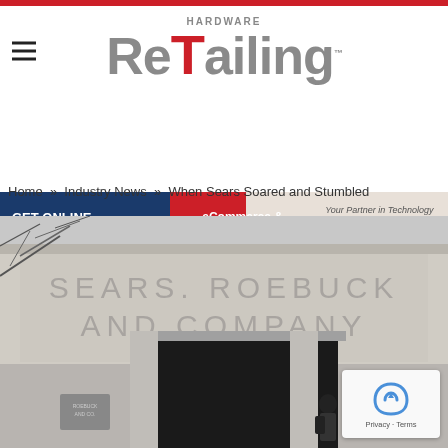HARDWARE ReTailing
[Figure (infographic): Orgill advertisement banner: 'GET ONLINE WITH ORGILL | eCommerce & Product Data | Your Partner in Technology ORGILL']
Home » Industry News » When Sears Soared and Stumbled
[Figure (photo): Photo of a Sears, Roebuck and Company building exterior with large engraved lettering. A person is visible walking through an entrance. A reCAPTCHA widget is overlaid in the bottom-right corner showing 'Privacy · Terms'.]